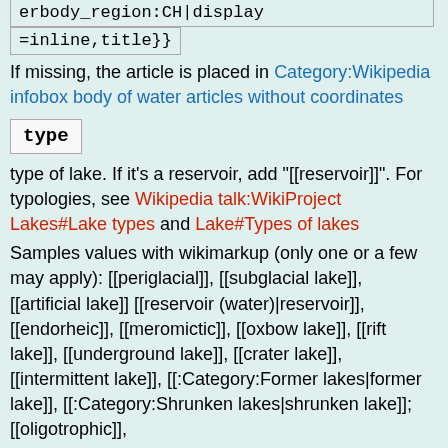erbody_region:CH|display
=inline,title}}
If missing, the article is placed in Category:Wikipedia infobox body of water articles without coordinates
type
type of lake. If it's a reservoir, add "[[reservoir]]". For typologies, see Wikipedia talk:WikiProject Lakes#Lake types and Lake#Types of lakes
Samples values with wikimarkup (only one or a few may apply): [[periglacial]], [[subglacial lake]], [[artificial lake]] [[reservoir (water)|reservoir]], [[endorheic]], [[meromictic]], [[oxbow lake]], [[rift lake]], [[underground lake]], [[crater lake]], [[intermittent lake]], [[:Category:Former lakes|former lake]], [[:Category:Shrunken lakes|shrunken lake]]; [[oligotrophic]],